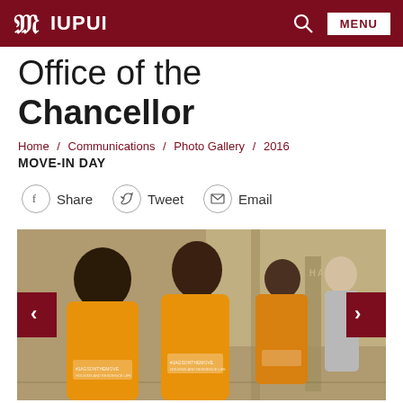IU IUPUI [logo] [Search] MENU
Office of the Chancellor
Home / Communications / Photo Gallery / 2016
MOVE-IN DAY
Share  Tweet  Email
[Figure (photo): Students wearing orange IUPUI #JagsOnTheMove t-shirts walking down a hallway in Hine Hall during Move-In Day 2016, viewed from behind. Carousel with left and right navigation arrows.]